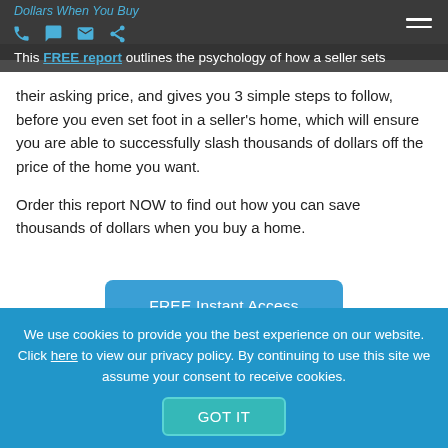Dollars When You Buy
This FREE report outlines the psychology of how a seller sets their asking price, and gives you 3 simple steps to follow, before you even set foot in a seller's home, which will ensure you are able to successfully slash thousands of dollars off the price of the home you want.
Order this report NOW to find out how you can save thousands of dollars when you buy a home.
[Figure (other): Blue rounded button labeled 'FREE Instant Access']
We use cookies to provide you the best experience on our website. Click here to view our privacy policy. By continuing to use this site we assume your consent to receive cookies.
[Figure (other): Teal rounded button labeled 'GOT IT']